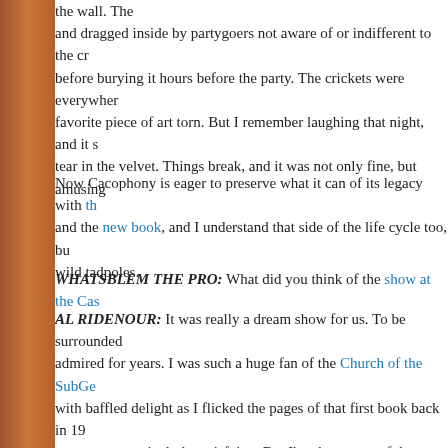the wall. The and dragged inside by partygoers not aware of or indifferent to the c before burying it hours before the party. The crickets were everywher favorite piece of art torn. But I remember laughing that night, and it s tear in the velvet. Things break, and it was not only fine, but amusing
Now Cacophony is eager to preserve what it can of its legacy with th and the new book, and I understand that side of the life cycle too, bu wild tadpoles.
WHATSBLEM THE PRO: What did you think of the show at the Cas
AL RIDENOUR: It was really a dream show for us. To be surrounded admired for years. I was such a huge fan of the Church of the SubGe with baffled delight as I flicked the pages of that first book back in 19 screen was particularly satisfying. But I'm also aware of the friction i involved. I was housemates with Chicken (John Rinaldi) during his L Cacophony, and from years of experience with him, know that he is p make enemies. But he's also changed a lot too, and probably for the good/bad stuff. Other than that, I really don't want to comment other amusing absurdity of an un-author-ized publication party. If only the s an actual prank!